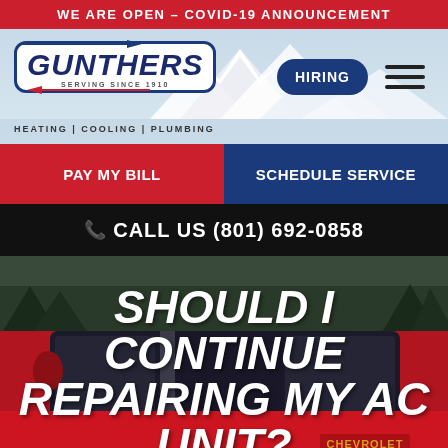WE ARE OPEN – COVID-19 ANNOUNCEMENT
[Figure (logo): Gunthers logo with blue border, italic text, arrows, and tagline HEATING | COOLING | PLUMBING. Serving Since 1910.]
HIRING
PAY MY BILL
SCHEDULE SERVICE
CALL US (801) 692-0858
[Figure (photo): Red vintage Chevrolet truck cab detail with dark background and mountains, serving as hero background image]
SHOULD I CONTINUE REPAIRING MY AC UNIT?